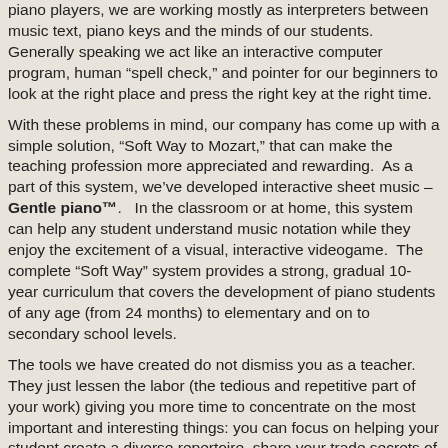piano players, we are working mostly as interpreters between music text, piano keys and the minds of our students. Generally speaking we act like an interactive computer program, human “spell check,” and pointer for our beginners to look at the right place and press the right key at the right time.
With these problems in mind, our company has come up with a simple solution, “Soft Way to Mozart,” that can make the teaching profession more appreciated and rewarding.  As a part of this system, we’ve developed interactive sheet music – Gentle piano™.   In the classroom or at home, this system can help any student understand music notation while they enjoy the excitement of a visual, interactive videogame.  The complete “Soft Way” system provides a strong, gradual 10-year curriculum that covers the development of piano students of any age (from 24 months) to elementary and on to secondary school levels.
The tools we have created do not dismiss you as a teacher. They just lessen the labor (the tedious and repetitive part of your work) giving you more time to concentrate on the most important and interesting things: you can focus on helping your student create a diverse repertoire, share your trade secrets of piano technique, and “put the cherry on top” of the ice cream sundae.
“Soft Way to Mozart” is an irreplaceable tool in the class of any piano or music teacher. It can be used in private or group sessions and, even better, in the homes of your students to